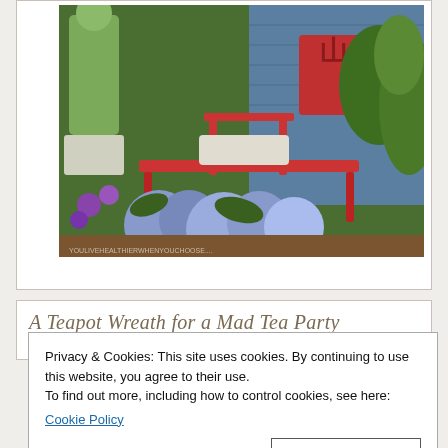[Figure (photo): Garden scene with a red bench surrounded by blue hydrangeas and green foliage, with decorative items and a weathered shed in the background.]
A Teapot Wreath for a Mad Tea Party
Privacy & Cookies: This site uses cookies. By continuing to use this website, you agree to their use.
To find out more, including how to control cookies, see here:
Cookie Policy
Close and accept
[Figure (photo): Partial view of a colorful image at the bottom of the page, partially obscured.]